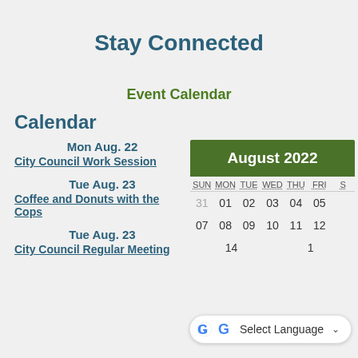Stay Connected
Event Calendar
Calendar
Mon Aug. 22
City Council Work Session
Tue Aug. 23
Coffee and Donuts with the Cops
Tue Aug. 23
City Council Regular Meeting
[Figure (other): August 2022 calendar widget showing days SUN through SAT, with dates 31, 01-05, 07-12, 14-15 visible]